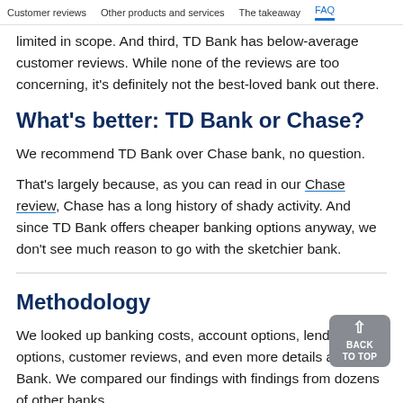Customer reviews   Other products and services   The takeaway   FAQ
limited in scope. And third, TD Bank has below-average customer reviews. While none of the reviews are too concerning, it's definitely not the best-loved bank out there.
What's better: TD Bank or Chase?
We recommend TD Bank over Chase bank, no question.
That's largely because, as you can read in our Chase review, Chase has a long history of shady activity. And since TD Bank offers cheaper banking options anyway, we don't see much reason to go with the sketchier bank.
Methodology
We looked up banking costs, account options, lending options, customer reviews, and even more details about TD Bank. We compared our findings with findings from dozens of other banks.